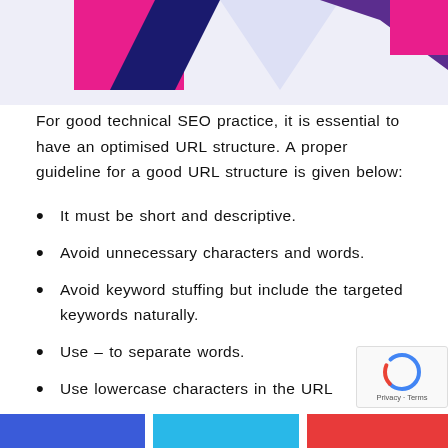[Figure (illustration): Decorative top banner with pink, dark blue and light purple geometric/abstract shapes on a light lavender background]
For good technical SEO practice, it is essential to have an optimised URL structure. A proper guideline for a good URL structure is given below:
It must be short and descriptive.
Avoid unnecessary characters and words.
Avoid keyword stuffing but include the targeted keywords naturally.
Use – to separate words.
Use lowercase characters in the URL